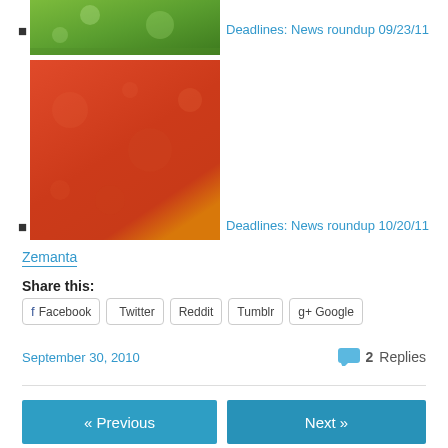Deadlines: News roundup 09/23/11
[Figure (photo): Green plant leaves thumbnail image]
Deadlines: News roundup 10/20/11
[Figure (photo): Red/orange strawberry close-up image]
Zemanta
Share this:
Facebook
Twitter
Reddit
Tumblr
Google+
September 30, 2010
2 Replies
« Previous
Next »